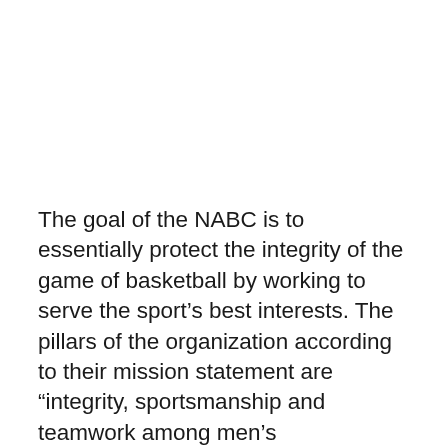The goal of the NABC is to essentially protect the integrity of the game of basketball by working to serve the sport’s best interests. The pillars of the organization according to their mission statement are “integrity, sportsmanship and teamwork among men’s